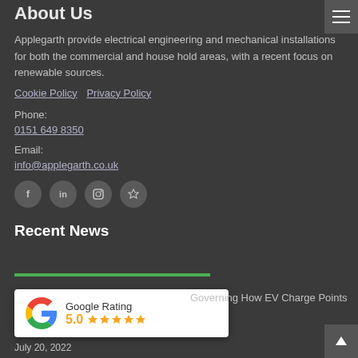About Us
Applegarth provide electrical engineering and mechanical installations for both the commercial and house hold areas, with a recent focus on renewable sources.
Cookie Policy  Privacy Policy
Phone:
0151 649 8350
Email:
info@applegarth.co.uk
[Figure (infographic): Social media icons: Facebook (f), LinkedIn (in), Instagram, and a star/review icon arranged in a row of circular buttons]
Recent News
[Figure (infographic): Google Rating widget showing 5.0 stars with five orange star icons and the Google 'G' logo]
Governing How EV Charge Points
July 20, 2022